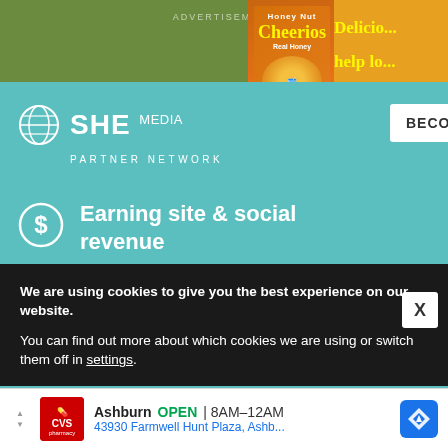ADVERTISEMENT
[Figure (illustration): SHE Media Partner Network advertisement with teal background showing dollar sign icon with 'Earning site & social revenue' and bar chart icon with 'Traffic growth', plus BECOME button and LEARN MORE button]
[Figure (illustration): Honey Nut Cheerios cereal box advertisement on orange background with text 'Delicio... help lo... as part o...']
RICA
We are using cookies to give you the best experience on our website.
You can find out more about which cookies we are using or switch them off in settings.
[Figure (illustration): CVS pharmacy advertisement banner: Ashburn OPEN 8AM-12AM, 43930 Farmwell Hunt Plaza, Ashb...]